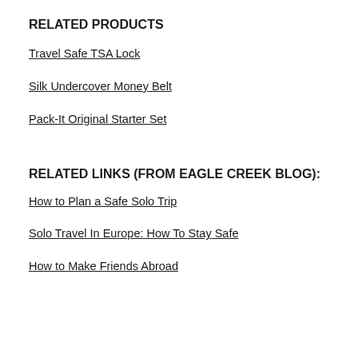RELATED PRODUCTS
Travel Safe TSA Lock
Silk Undercover Money Belt
Pack-It Original Starter Set
RELATED LINKS (FROM EAGLE CREEK BLOG):
How to Plan a Safe Solo Trip
Solo Travel In Europe: How To Stay Safe
How to Make Friends Abroad